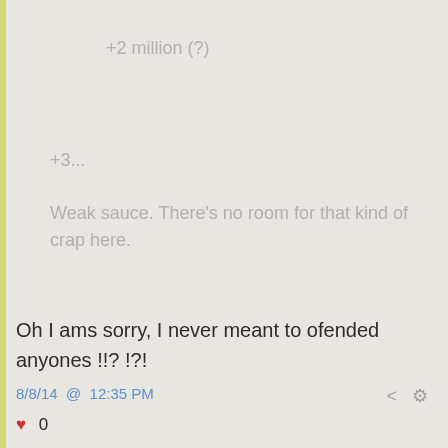+2 million (?)
+3...
Weak sauce. There's no room for that kind of crap here.
Oh I ams sorry, I never meant to ofended anyones !!? !?!
8/8/14 @ 12:35 PM
♥ 0